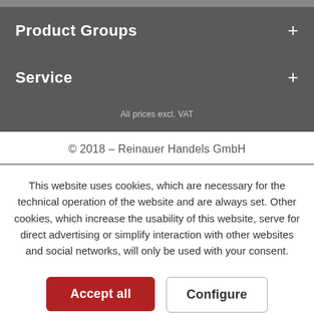Product Groups
Service
All prices excl. VAT
© 2018 – Reinauer Handels GmbH
This website uses cookies, which are necessary for the technical operation of the website and are always set. Other cookies, which increase the usability of this website, serve for direct advertising or simplify interaction with other websites and social networks, will only be used with your consent.
Accept all
Configure